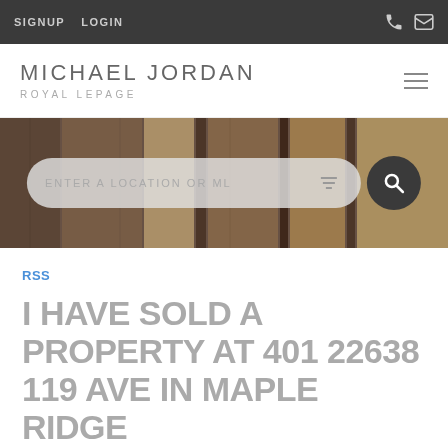SIGNUP  LOGIN
MICHAEL JORDAN
ROYAL LEPAGE
[Figure (screenshot): Hero image showing wooden door/window frames in brown tones with a search bar overlay reading ENTER A LOCATION OR ML]
RSS
I HAVE SOLD A PROPERTY AT 401 22638 119 AVE IN MAPLE RIDGE